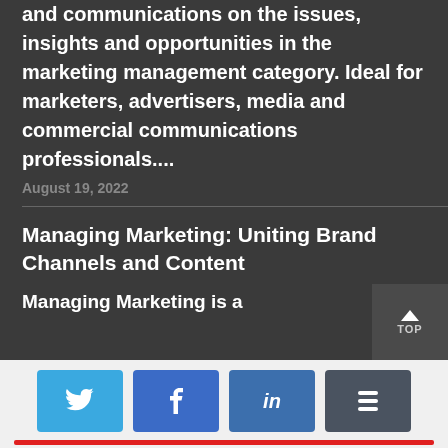and communications on the issues, insights and opportunities in the marketing management category. Ideal for marketers, advertisers, media and commercial communications professionals....
August 19, 2022
Managing Marketing: Uniting Brand Channels and Content
Managing Marketing is a
[Figure (other): Social share buttons: Twitter, Facebook, LinkedIn, Buffer, with a red progress bar below]